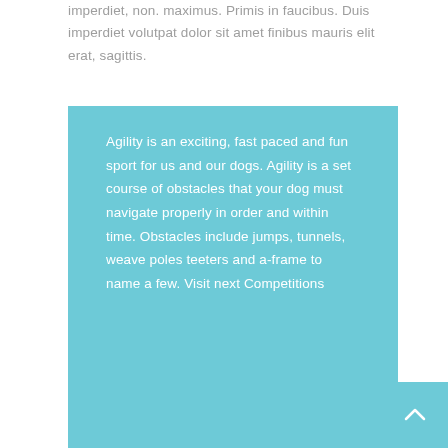imperdiet, non. maximus. Primis in faucibus. Duis imperdiet volutpat dolor sit amet finibus mauris elit erat, sagittis.
Agility is an exciting, fast paced and fun sport for us and our dogs. Agility is a set course of obstacles that your dog must navigate properly in order and within time. Obstacles include jumps, tunnels, weave poles teeters and a-frame to name a few. Visit next Competitions